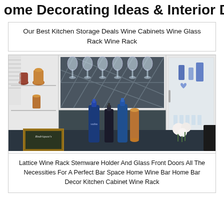ome Decorating Ideas & Interior Des
Our Best Kitchen Storage Deals Wine Cabinets Wine Glass Rack Wine Rack
[Figure (photo): Photo of a kitchen bar area with white cabinets, a lattice wine rack holding stemware upside down, decorative dark backsplash, wine/spirit bottles, a copper vase, white roses, and a chalkboard sign reading 'Rodriquez's']
Lattice Wine Rack Stemware Holder And Glass Front Doors All The Necessities For A Perfect Bar Space Home Wine Bar Home Bar Decor Kitchen Cabinet Wine Rack